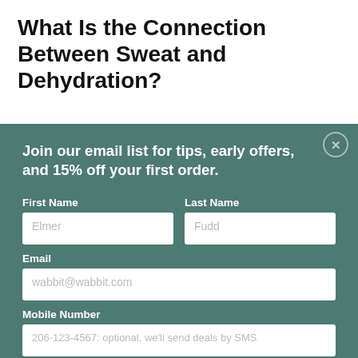What Is the Connection Between Sweat and Dehydration?
[Figure (screenshot): Email signup modal overlay with teal/dark green background. Contains headline 'Join our email list for tips, early offers, and 15% off your first order.' with form fields for First Name (placeholder: Elmer), Last Name (placeholder: Fudd), Email (placeholder: wabbit@wabbit.com), and Mobile Number (placeholder: 206-123-4567: optional, we'll send deals by SMS). Has a close button (X) in top right corner.]